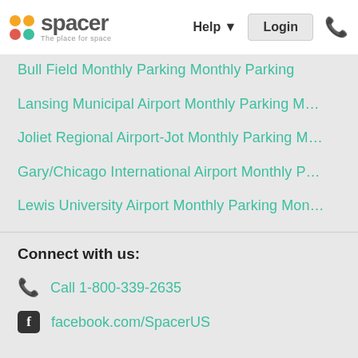spacer — The place for space | Help | Login
Bull Field Monthly Parking Monthly Parking
Lansing Municipal Airport Monthly Parking M…
Joliet Regional Airport-Jot Monthly Parking M…
Gary/Chicago International Airport Monthly P…
Lewis University Airport Monthly Parking Mon…
Pielet-Calumet Heliport Monthly Parking Mon…
Aviation Services Group Monthly Parking Mo…
Saint Xavier University Monthly Parking Month…
Evergreen Plaza Shopping Center Monthly P…
Chicago Ridge Mall Monthly Parking Monthly…
Connect with us:
Call 1-800-339-2635
facebook.com/SpacerUS